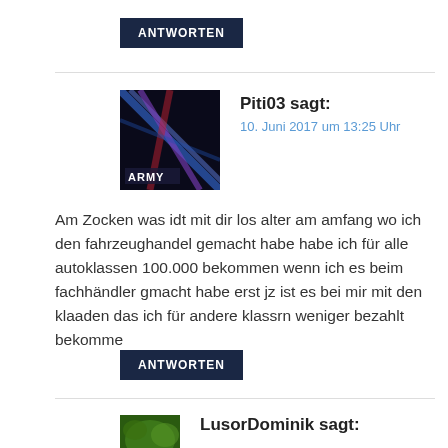ANTWORTEN
Piti03 sagt:
10. Juni 2017 um 13:25 Uhr
Am Zocken was idt mit dir los alter am amfang wo ich den fahrzeughandel gemacht habe habe ich für alle autoklassen 100.000 bekommen wenn ich es beim fachhändler gmacht habe erst jz ist es bei mir mit den klaaden das ich für andere klassrn weniger bezahlt bekomme
ANTWORTEN
LusorDominik sagt: